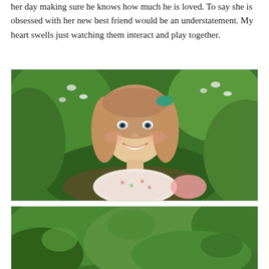her day making sure he knows how much he is loved. To say she is obsessed with her new best friend would be an understatement. My heart swells just watching them interact and play together.
[Figure (photo): A young girl with light brown shoulder-length hair, wearing a floral top and a teal/green bow in her hair, smiling broadly at the camera. She is outdoors with green leafy bushes and white flowers in the background.]
[Figure (photo): Outdoor scene with green leafy plants and foliage, partial view at the bottom of the page.]